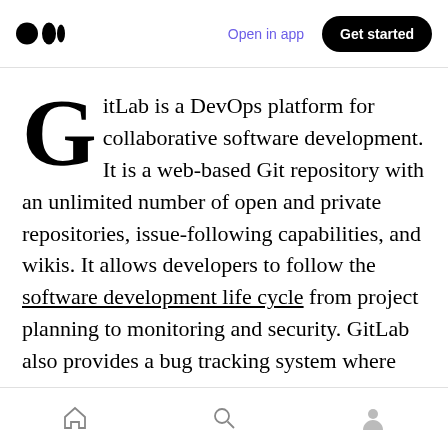Medium logo | Open in app | Get started
GitLab is a DevOps platform for collaborative software development. It is a web-based Git repository with an unlimited number of open and private repositories, issue-following capabilities, and wikis. It allows developers to follow the software development life cycle from project planning to monitoring and security. GitLab also provides a bug tracking system where you can create tasks, leave comments and close them. All this functionality is
Home | Search | Profile